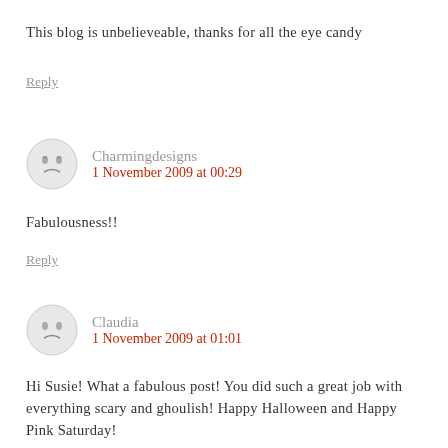This blog is unbelieveable, thanks for all the eye candy
Reply
Charmingdesigns
1 November 2009 at 00:29
Fabulousness!!
Reply
Claudia
1 November 2009 at 01:01
Hi Susie! What a fabulous post! You did such a great job with everything scary and ghoulish! Happy Halloween and Happy Pink Saturday!
Reply